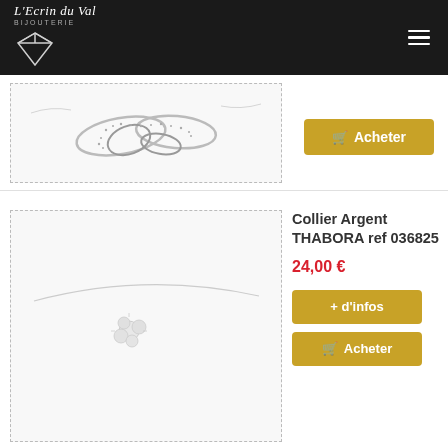[Figure (logo): L'Ecrin du Val Bijouterie logo with diamond shape on dark background]
[Figure (photo): Silver necklace with multi-petal floral diamond design (partial top product)]
[Figure (other): Acheter (buy) button with cart icon]
[Figure (photo): Silver necklace Collier Argent THABORA ref 036825 with single crystal pendant on wire]
Collier Argent THABORA ref 036825
24,00 €
[Figure (other): + d'infos button]
[Figure (other): Acheter (buy) button with cart icon]